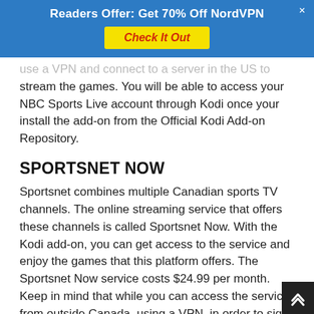Readers Offer: Get 70% Off NordVPN
use a VPN and connect to a server in the US to stream the games. You will be able to access your NBC Sports Live account through Kodi once your install the add-on from the Official Kodi Add-on Repository.
SPORTSNET NOW
Sportsnet combines multiple Canadian sports TV channels. The online streaming service that offers these channels is called Sportsnet Now. With the Kodi add-on, you can get access to the service and enjoy the games that this platform offers. The Sportsnet Now service costs $24.99 per month. Keep in mind that while you can access the service from outside Canada, using a VPN, in order to sign up, a Canadian credit card is required.